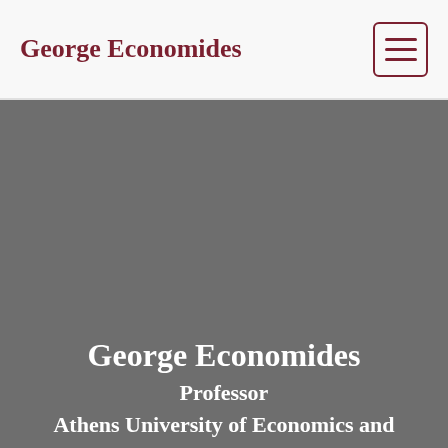George Economides
[Figure (other): Hamburger menu button icon with three horizontal lines, dark red border]
[Figure (photo): Large gray hero image background area]
George Economides
Professor
Athens University of Economics and